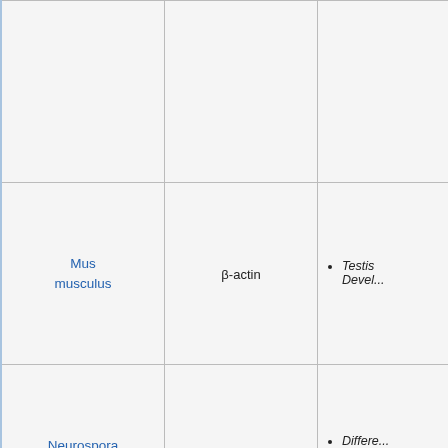| Species | Gene/Protein | Context/Application |
| --- | --- | --- |
|  |  |  |
| Mus musculus | β-actin | • Testis Devel... |
| Neurospora crassa | Beta-actin | • Differe... Enviro... Condi... |